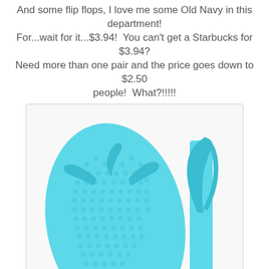And some flip flops, I love me some Old Navy in this department! For...wait for it...$3.94!  You can't get a Starbucks for $3.94? Need more than one pair and the price goes down to $2.50 people!  What?!!!!!
[Figure (photo): Photo of a pair of light blue/turquoise Old Navy flip flops shown from two angles: one from the top view (flat) showing the textured sole and toe-post straps, and one from the side view showing the strap profile and sole thickness.]